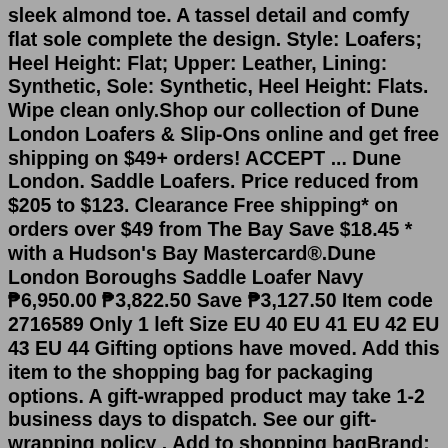sleek almond toe. A tassel detail and comfy flat sole complete the design. Style: Loafers; Heel Height: Flat; Upper: Leather, Lining: Synthetic, Sole: Synthetic, Heel Height: Flats. Wipe clean only.Shop our collection of Dune London Loafers & Slip-Ons online and get free shipping on $49+ orders! ACCEPT ... Dune London. Saddle Loafers. Price reduced from $205 to $123. Clearance Free shipping* on orders over $49 from The Bay Save $18.45 * with a Hudson's Bay Mastercard®.Dune London Boroughs Saddle Loafer Navy ₱6,950.00 ₱3,822.50 Save ₱3,127.50 Item code 2716589 Only 1 left Size EU 40 EU 41 EU 42 EU 43 EU 44 Gifting options have moved. Add this item to the shopping bag for packaging options. A gift-wrapped product may take 1-2 business days to dispatch. See our gift-wrapping policy . Add to shopping bagBrand: Dune London. Category: Shoes > Flat Shoes. Colour: Black. Details: Dune leather loafers 100% leather Slips on Almond toe, low-heel, minimal design Wipe with a clean, dry cloth Upper: 100% leather Lining: 100% synthetic Sole: 100%